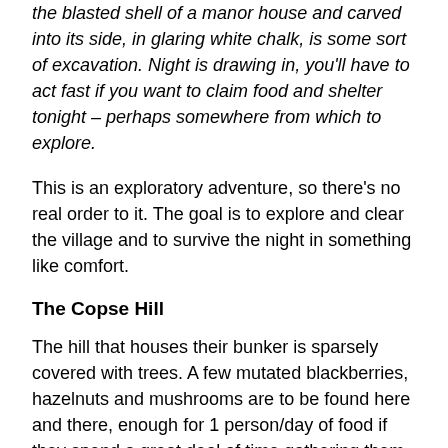the blasted shell of a manor house and carved into its side, in glaring white chalk, is some sort of excavation. Night is drawing in, you'll have to act fast if you want to claim food and shelter tonight – perhaps somewhere from which to explore.
This is an exploratory adventure, so there's no real order to it. The goal is to explore and clear the village and to survive the night in something like comfort.
The Copse Hill
The hill that houses their bunker is sparsely covered with trees. A few mutated blackberries, hazelnuts and mushrooms are to be found here and there, enough for 1 person/day of food if they spend a great deal of time gathering them up (30 minutes assuming they split the